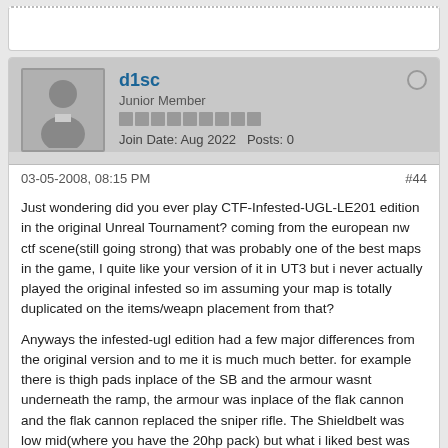[previous post stub]
d1sc
Junior Member
Join Date: Aug 2022   Posts: 0
03-05-2008, 08:15 PM   #44
Just wondering did you ever play CTF-Infested-UGL-LE201 edition in the original Unreal Tournament? coming from the european nw ctf scene(still going strong) that was probably one of the best maps in the game, I quite like your version of it in UT3 but i never actually played the original infested so im assuming your map is totally duplicated on the items/weapn placement from that?

Anyways the infested-ugl edition had a few major differences from the original version and to me it is much much better. for example there is thigh pads inplace of the SB and the armour wasnt underneath the ramp, the armour was inplace of the flak cannon and the flak cannon replaced the sniper rifle. The Shieldbelt was low mid(where you have the 20hp pack) but what i liked best was that there was a tube entrance high mid and there was a jump pad infront of the rocket launcher/stairs position and if you jumped on the pad it would send you vertically up in the air to the tube entrance or if you right dodged on the jump pad it would send you horizontally over to the armour position(flak on your map) and there was an amp in that tube(directly above SB) and a hole